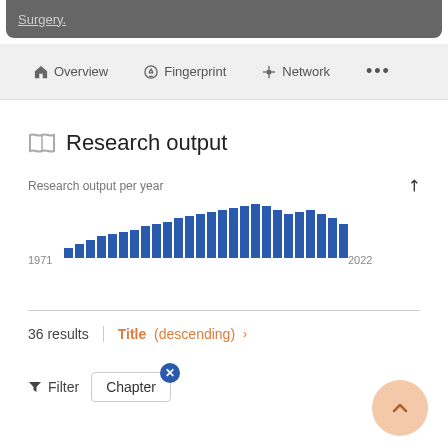Surgery.
Overview | Fingerprint | Network | ...
Research output
Research output per year
[Figure (bar-chart): Research output per year]
36 results  Title (descending) ›
Filter  Chapter ×